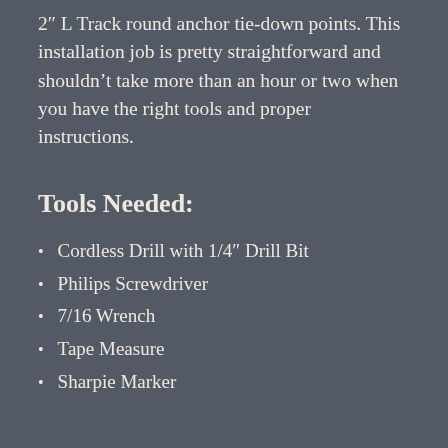2" L Track round anchor tie-down points. This installation job is pretty straightforward and shouldn't take more than an hour or two when you have the right tools and proper instructions.
Tools Needed:
Cordless Drill with 1/4" Drill Bit
Philips Screwdriver
7/16 Wrench
Tape Measure
Sharpie Marker